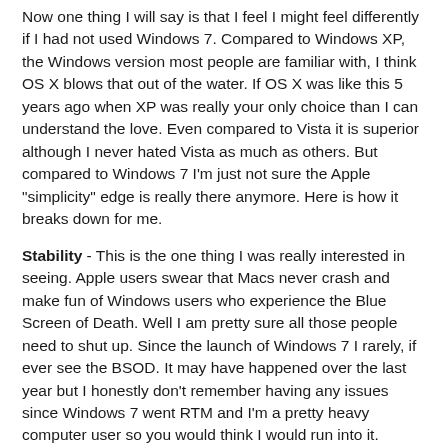Now one thing I will say is that I feel I might feel differently if I had not used Windows 7.  Compared to Windows XP, the Windows version most people are familiar with, I think OS X blows that out of the water.  If OS X was like this 5 years ago when XP was really your only choice than I can understand the love.  Even compared to Vista it is superior although I never hated Vista as much as others.  But compared to Windows 7 I'm just not sure the Apple "simplicity" edge is really there anymore.  Here is how it breaks down for me.
Stability - This is the one thing I was really interested in seeing.  Apple users swear that Macs never crash and make fun of Windows users who experience the Blue Screen of Death.  Well I am pretty sure all those people need to shut up.  Since the launch of Windows 7 I rarely, if ever see the BSOD.  It may have happened over the last year but I honestly don't remember having any issues since Windows 7 went RTM and I'm a pretty heavy computer user so you would think I would run into it.  Within the first two days of having my Macbook Pro the thing crashed three times.  A week later, I had it freeze three times in a row on me in one hour.  This is not an exaggeration.  I called over the Mac